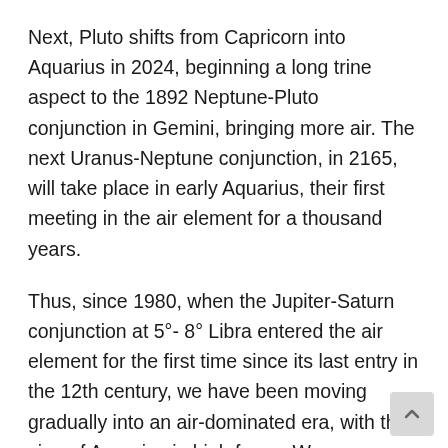Next, Pluto shifts from Capricorn into Aquarius in 2024, beginning a long trine aspect to the 1892 Neptune-Pluto conjunction in Gemini, bringing more air. The next Uranus-Neptune conjunction, in 2165, will take place in early Aquarius, their first meeting in the air element for a thousand years.
Thus, since 1980, when the Jupiter-Saturn conjunction at 5°- 8° Libra entered the air element for the first time since its last entry in the 12th century, we have been moving gradually into an air-dominated era, with the sign of Aquarius in high focus. We are moving from an emphasis on material development and planetary exploitation (characteristics of the Industrial Revolution and the materialistic culture which arose) to one of global social